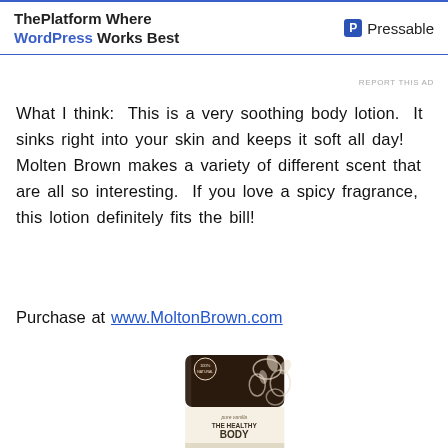ThePlatform Where WordPress Works Best | Pressable
REPORT THIS AD
What I think:  This is a very soothing body lotion.  It sinks right into your skin and keeps it soft all day!  Molten Brown makes a variety of different scent that are all so interesting.  If you love a spicy fragrance, this lotion definitely fits the bill!
Purchase at www.MoltonBrown.com
[Figure (photo): Molten Brown The Healthy Body Butter tube in dark brown with white floral design, labeled 'pure vanilla THE HEALTHY BODY BUTTER']